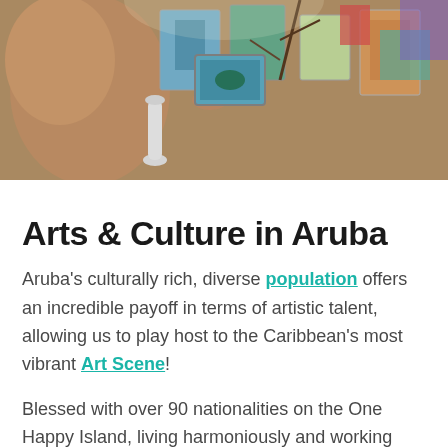[Figure (photo): A person holding up a small painting at an art market or studio, surrounded by colorful artworks and paintings in the background.]
Arts & Culture in Aruba
Aruba's culturally rich, diverse population offers an incredible payoff in terms of artistic talent, allowing us to play host to the Caribbean's most vibrant Art Scene!
Blessed with over 90 nationalities on the One Happy Island, living harmoniously and working